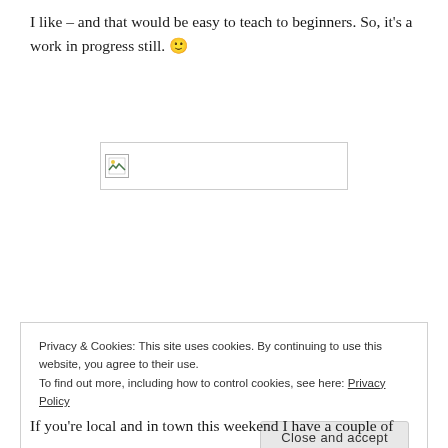I like – and that would be easy to teach to beginners. So, it's a work in progress still. 🙂
[Figure (other): Broken/missing image placeholder shown as a small icon inside a bordered rectangle]
Privacy & Cookies: This site uses cookies. By continuing to use this website, you agree to their use.
To find out more, including how to control cookies, see here: Privacy Policy
Close and accept
If you're local and in town this weekend I have a couple of